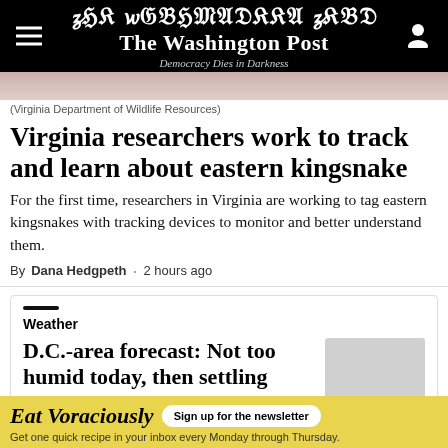The Washington Post — Democracy Dies in Darkness
[Figure (photo): Partial view of an animal, pink/flesh toned, likely a snake being held]
(Virginia Department of Wildlife Resources)
Virginia researchers work to track and learn about eastern kingsnake
For the first time, researchers in Virginia are working to tag eastern kingsnakes with tracking devices to monitor and better understand them.
By Dana Hedgpeth · 2 hours ago
Weather
D.C.-area forecast: Not too humid today, then settling
Eat Voraciously  Sign up for the newsletter  Get one quick recipe in your inbox every Monday through Thursday.